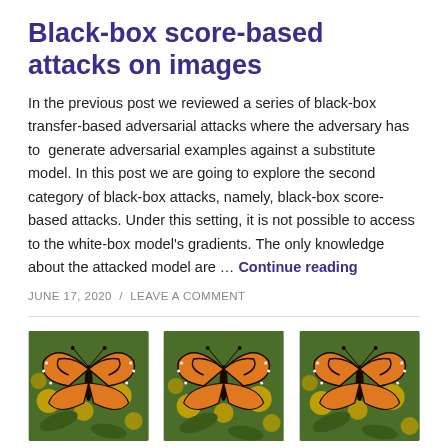Black-box score-based attacks on images
In the previous post we reviewed a series of black-box transfer-based adversarial attacks where the adversary has to generate adversarial examples against a substitute model. In this post we are going to explore the second category of black-box attacks, namely, black-box score-based attacks. Under this setting, it is not possible to access to the white-box model's gradients. The only knowledge about the attacked model are … Continue reading
JUNE 17, 2020 / LEAVE A COMMENT
[Figure (photo): Three side-by-side photos of a monarch butterfly on yellow flowers]